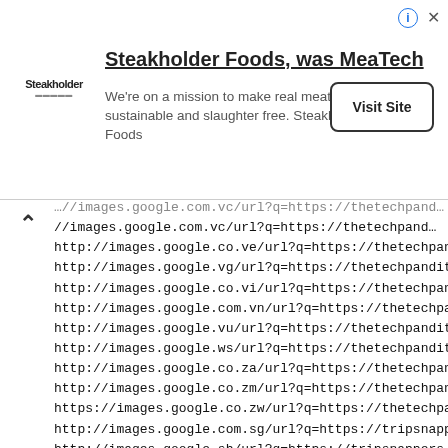[Figure (screenshot): Advertisement banner for Steakholder Foods (was MeaTech) with logo, title, body text, and Visit Site button]
...//images.google.com.vc/url?q=https://thetechpand...
//images.google.com.vc/url?q=https://thetechpand...
http://images.google.co.ve/url?q=https://thetechpand...
http://images.google.vg/url?q=https://thetechpandit.c...
http://images.google.co.vi/url?q=https://thetechpand...
http://images.google.com.vn/url?q=https://thetechpan...
http://images.google.vu/url?q=https://thetechpandit.c...
http://images.google.ws/url?q=https://thetechpandit.c...
http://images.google.co.za/url?q=https://thetechpand...
http://images.google.co.zm/url?q=https://thetechpand...
https://images.google.co.zw/url?q=https://thetechpan...
http://images.google.com.sg/url?q=https://tripsnapper...
http://images.google.sh/url?q=https://tripsnappers.co...
http://images.google.si/url?q=https://tripsnappers.co...
http://images.google.sk/url?q=https://tripsnappers.co...
http://images.google.com.sl/url?q=https://tripsnapper...
http://images.google.sn/url?q=https://tripsnappers.co...
http://images.google.sm/url?q=https://tripsnappers...